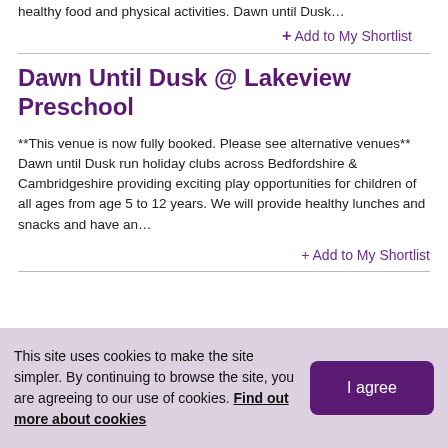healthy food and physical activities. Dawn until Dusk…
+ Add to My Shortlist
Dawn Until Dusk @ Lakeview Preschool
**This venue is now fully booked. Please see alternative venues** Dawn until Dusk run holiday clubs across Bedfordshire & Cambridgeshire providing exciting play opportunities for children of all ages from age 5 to 12 years. We will provide healthy lunches and snacks and have an…
+ Add to My Shortlist
This site uses cookies to make the site simpler. By continuing to browse the site, you are agreeing to our use of cookies. Find out more about cookies